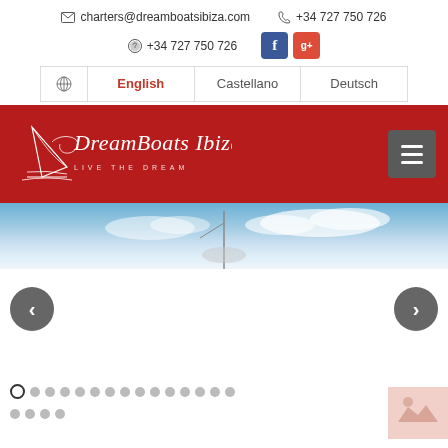charters@dreamboatsibiza.com  +34 727 750 726
+34 727 750 726
English  Castellano  Deutsch
[Figure (logo): Dream Boats Ibiza logo on red background with sailboat graphic and tagline LIVE THE DREAM, with hamburger menu icon]
[Figure (photo): Hero banner showing a boat mast against a blue sky with clouds]
[Figure (other): Carousel navigation with left and right arrow buttons and dot indicators showing slide position, plus a small thumbnail in bottom right corner]